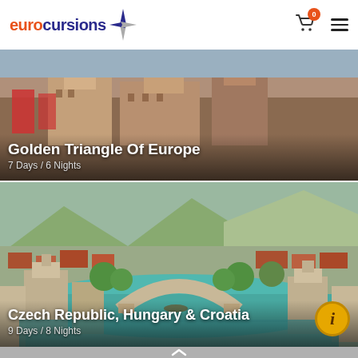eurocursions
[Figure (photo): Golden Triangle Of Europe tour card — architectural European city scene with ornate buildings]
Golden Triangle Of Europe
7 Days / 6 Nights
[Figure (photo): Czech Republic, Hungary & Croatia tour card — aerial view of Mostar old bridge over the Neretva river with stone architecture and mountain backdrop]
Czech Republic, Hungary & Croatia
9 Days / 8 Nights